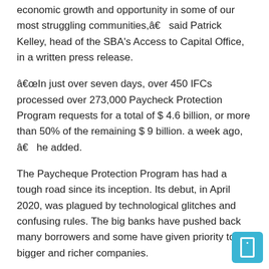economic growth and opportunity in some of our most struggling communities,â€ said Patrick Kelley, head of the SBA's Access to Capital Office, in a written press release.
â€œIn just over seven days, over 450 IFCs processed over 273,000 Paycheck Protection Program requests for a total of $ 4.6 billion, or more than 50% of the remaining $ 9 billion. a week ago, â€ he added.
The Paycheque Protection Program has had a tough road since its inception. Its debut, in April 2020, was plagued by technological glitches and confusing rules. The big banks have pushed back many borrowers and some have given priority to bigger and richer companies.
Fraud has also been a constant challenge, and the Justice Department has accused hundreds of people of illegally taking loans. Many of the smaller businesses have been closed entirely; a late move by the Biden administration to get more money for solo business owners has wreaked havoc on lenders and contributed to the recent flood of demands.